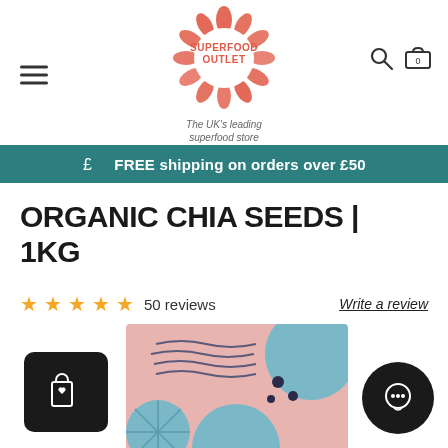[Figure (logo): Superfood Outlet logo — circular badge made of seed/petal shapes in coral/orange-red, with text SUPERFOOD OUTLET in bold and tagline The UK's leading superfood store]
FREE shipping on orders over £50
ORGANIC CHIA SEEDS | 1KG
★★★★★ 50 reviews   Write a review
[Figure (photo): Partial view of a pink and blue product package for organic chia seeds, shown at the bottom of the page]